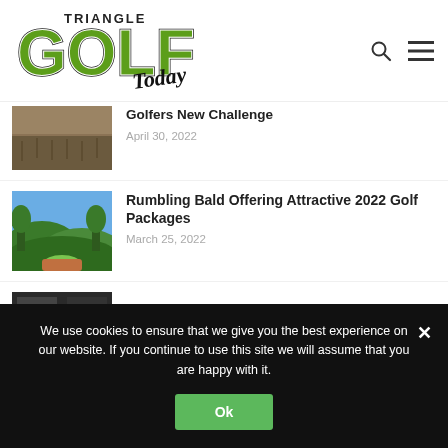[Figure (logo): Triangle Golf Today logo with large green GOLF lettering and italic Today script]
Golfers New Challenge
April 30, 2022
Rumbling Bald Offering Attractive 2022 Golf Packages
March 25, 2022
We use cookies to ensure that we give you the best experience on our website. If you continue to use this site we will assume that you are happy with it.
Ok